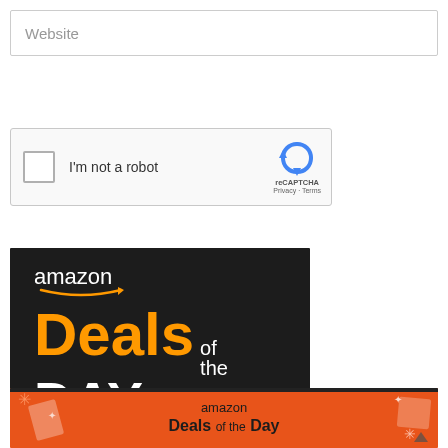[Figure (screenshot): Website text input field with placeholder text 'Website']
[Figure (screenshot): Google reCAPTCHA widget with checkbox labeled 'I'm not a robot' and reCAPTCHA logo with Privacy and Terms links]
[Figure (logo): Amazon Deals of the Day banner image on dark background - 'amazon' in white with smile arrow, 'Deals' in orange, 'of the' in white, 'DAY' in large white bold text]
[Figure (logo): Amazon Deals of the Day orange banner with decorative gift/star elements and text 'amazon Deals of the Day']